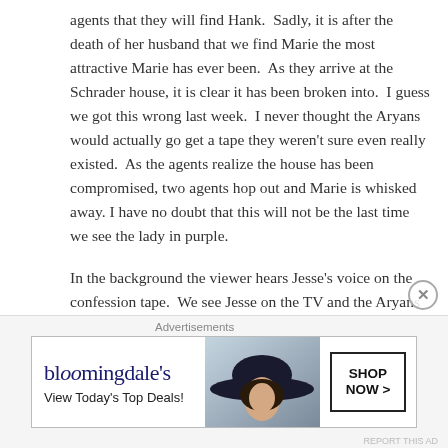agents that they will find Hank.  Sadly, it is after the death of her husband that we find Marie the most attractive Marie has ever been.  As they arrive at the Schrader house, it is clear it has been broken into.  I guess we got this wrong last week.  I never thought the Aryans would actually go get a tape they weren't sure even really existed.  As the agents realize the house has been compromised, two agents hop out and Marie is whisked away. I have no doubt that this will not be the last time we see the lady in purple.
In the background the viewer hears Jesse's voice on the confession tape.  We see Jesse on the TV and the Aryans watching the video while drinking beers.  Todd looks at the video like he is proud while Jesse describes the "Opie
[Figure (other): Bloomingdale's advertisement banner with logo, 'View Today's Top Deals!' tagline, a woman wearing a large dark hat, and a 'SHOP NOW >' button]